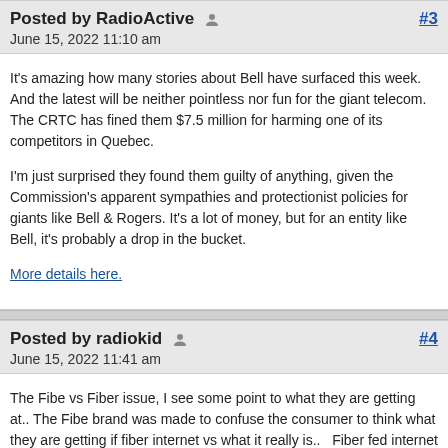Posted by RadioActive  June 15, 2022 11:10 am  #3
It's amazing how many stories about Bell have surfaced this week. And the latest will be neither pointless nor fun for the giant telecom. The CRTC has fined them $7.5 million for harming one of its competitors in Quebec.

I'm just surprised they found them guilty of anything, given the Commission's apparent sympathies and protectionist policies for giants like Bell & Rogers. It's a lot of money, but for an entity like Bell, it's probably a drop in the bucket.

More details here.
Posted by radiokid  June 15, 2022 11:41 am  #4
The Fibe vs Fiber issue, I see some point to what they are getting at.. The Fibe brand was made to confuse the consumer to think what they are getting if fiber internet vs what it really is..  Fiber fed internet to the box up the road and connected to your home with old copper wires.  All internet rides fiber now...  but after having a very lengthy chat with someone who